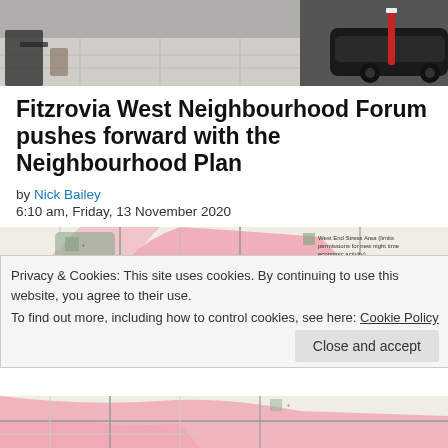[Figure (photo): Street-level photo showing outdoor seating area, pavement, and a car, partially cropped at top]
Fitzrovia West Neighbourhood Forum pushes forward with the Neighbourhood Plan
by Nick Bailey
6:10 am, Friday, 13 November 2020
[Figure (map): Partial map of Fitzrovia West area with legend showing West End Stress Area (limits permissions for new night time economic activity) and NO2 Pollution above EU max]
Privacy & Cookies: This site uses cookies. By continuing to use this website, you agree to their use.
To find out more, including how to control cookies, see here: Cookie Policy
[Figure (map): Bottom portion of Fitzrovia West area map with pink overlay markings]